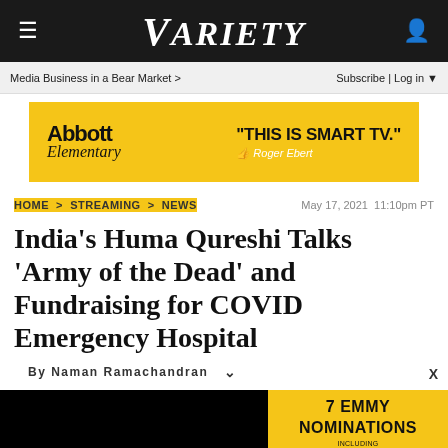VARIETY
Media Business in a Bear Market > | Subscribe | Log in
[Figure (illustration): Abbott Elementary advertisement banner with yellow background reading "THIS IS SMART TV." with Roger Ebert attribution]
HOME > STREAMING > NEWS   May 17, 2021 11:10pm PT
India's Huma Qureshi Talks 'Army of the Dead' and Fundraising for COVID Emergency Hospital
By Naman Ramachandran
[Figure (screenshot): Black video player panel with mute icon]
[Figure (illustration): Abbott Elementary side advertisement: 7 EMMY NOMINATIONS INCLUDING OUTSTANDING COMEDY SERIES]